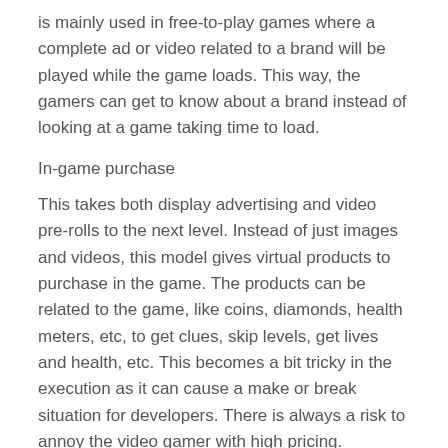is mainly used in free-to-play games where a complete ad or video related to a brand will be played while the game loads. This way, the gamers can get to know about a brand instead of looking at a game taking time to load.
In-game purchase
This takes both display advertising and video pre-rolls to the next level. Instead of just images and videos, this model gives virtual products to purchase in the game. The products can be related to the game, like coins, diamonds, health meters, etc, to get clues, skip levels, get lives and health, etc. This becomes a bit tricky in the execution as it can cause a make or break situation for developers. There is always a risk to annoy the video gamer with high pricing.
Merchandising
If the game is really popular among the gaming